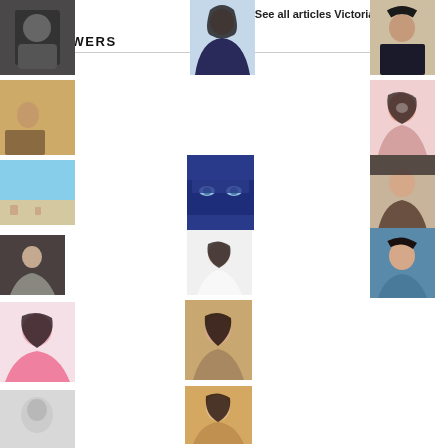See all articles Victoria R. likes ▶
FOLLOWERS
[Figure (photo): Profile photo - person in dark clothing]
[Figure (photo): Profile photo - woman with dark hair and red lips]
[Figure (photo): Profile photo - person in mirror selfie]
[Figure (photo): Profile photo - woman in artistic pose]
[Figure (photo): Profile photo - smiling young woman]
[Figure (photo): Profile photo - beach scene]
[Figure (photo): Profile photo - woman in blue niqab with striking eyes]
[Figure (photo): Profile photo - girl with hat]
[Figure (photo): Profile photo - small portrait of woman]
[Figure (photo): Profile photo - Asian woman in white]
[Figure (photo): Profile photo - woman with teal top]
[Figure (photo): Profile photo - young woman with curly hair in pink]
[Figure (photo): Profile photo - woman with hand near face]
[Figure (photo): Profile photo - grey/blank placeholder]
[Figure (photo): Profile photo - woman with warm tones]
[Figure (photo): Profile photo - partial view at bottom left]
[Figure (photo): Profile photo - partial view at bottom center]